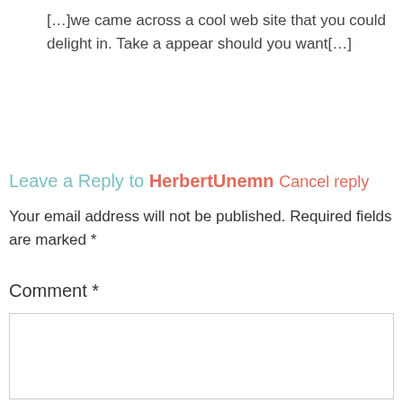[…]we came across a cool web site that you could delight in. Take a appear should you want[…]
Leave a Reply to HerbertUnemn Cancel reply
Your email address will not be published. Required fields are marked *
Comment *